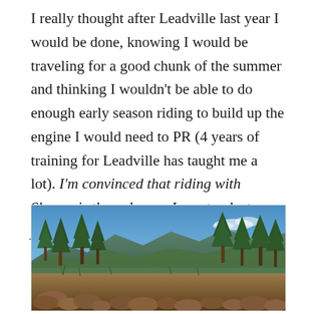I really thought after Leadville last year I would be done, knowing I would be traveling for a good chunk of the summer and thinking I wouldn't be able to do enough early season riding to build up the engine I would need to PR (4 years of training for Leadville has taught me a lot). I'm convinced that riding with Sharon is the only way I can top last year's experience is to help someone else reach that finish line.
[Figure (photo): Outdoor landscape photo showing pine/scrub trees in foreground, rocky terrain with reddish-brown boulders, distant mountain ridgeline, and a blue sky with light clouds.]